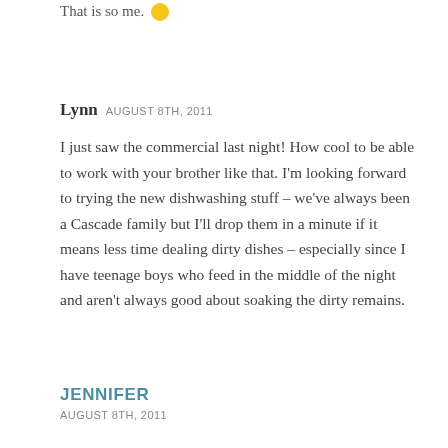That is so me. 🙂
Lynn  AUGUST 8TH, 2011
I just saw the commercial last night! How cool to be able to work with your brother like that. I'm looking forward to trying the new dishwashing stuff – we've always been a Cascade family but I'll drop them in a minute if it means less time dealing dirty dishes – especially since I have teenage boys who feed in the middle of the night and aren't always good about soaking the dirty remains.
JENNIFER
AUGUST 8TH, 2011